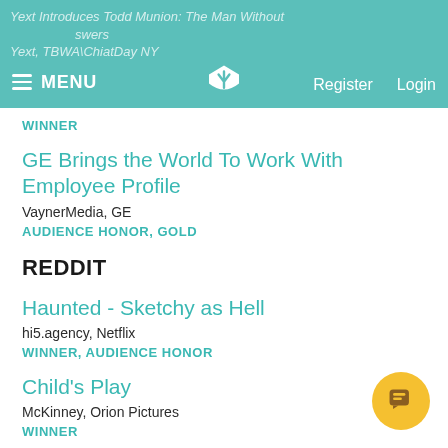MENU | Register | Login — Yext Introduces Todd Munion: The Man Without Answers — Yext, TBWA\ChiatDay NY
WINNER
GE Brings the World To Work With Employee Profile
VaynerMedia, GE
AUDIENCE HONOR, GOLD
REDDIT
Haunted - Sketchy as Hell
hi5.agency, Netflix
WINNER, AUDIENCE HONOR
Child's Play
McKinney, Orion Pictures
WINNER
TIKTOK